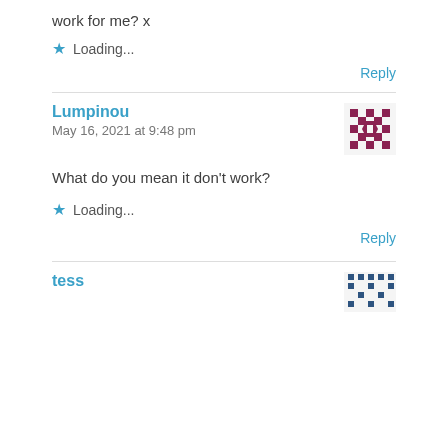work for me? x
★ Loading...
Reply
Lumpinou
May 16, 2021 at 9:48 pm
What do you mean it don't work?
★ Loading...
Reply
tess